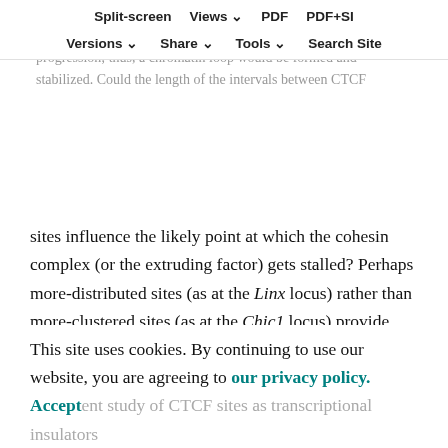DNA chains and moves along them, extruding DNA until it reaches the cofactors, as CTCF, which block its progression; thus, a chromatin loop would be formed and stabilized. Could the length of the intervals between CTCF sites influence the likely point at which the cohesin complex (or the extruding factor) gets stalled? Perhaps more-distributed sites (as at the Linx locus) rather than more-clustered sites (as at the Chic1 locus) provide more opportunities for stalling cohesin, given the very fast rate at which CTCF binds and unbinds chromatin (Hansen et al., 2017) and the rate of extrusion by cohesin (Davidson et al., 2019; Kim et al., 2019). Another potential explanation (not mutually exclusive) is that the differences in 'contact potential' depend on the different sequences flanking the convergent CTCF sites, as has been previously suggested by a recent study of CTCF sites as transcriptional insulators (Hansen et al., 2019).
Split-screen | Views | PDF | PDF+SI | Versions | Share | Tools | Search Site
This site uses cookies. By continuing to use our website, you are agreeing to our privacy policy. Accept